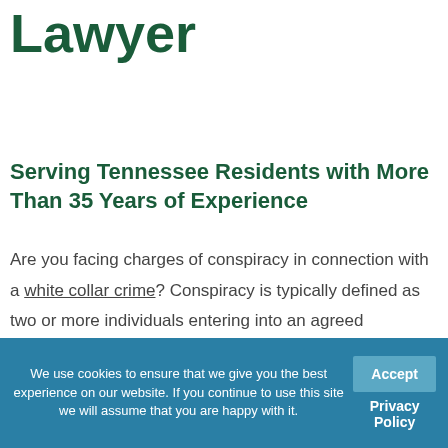Lawyer
Serving Tennessee Residents with More Than 35 Years of Experience
Are you facing charges of conspiracy in connection with a white collar crime? Conspiracy is typically defined as two or more individuals entering into an agreed arrangement to commit some type of criminal offense. The most common types of conspiracy accusations dealt with in federal court involve drug crimes, but conspiracy can be charged in a variety of
We use cookies to ensure that we give you the best experience on our website. If you continue to use this site we will assume that you are happy with it.